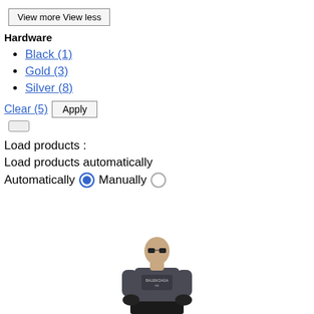View more View less
Hardware
Black (1)
Gold (3)
Silver (8)
Clear (5)  Apply
Load products :
Load products automatically
Automatically  Manually
[Figure (photo): Person wearing gray graphic t-shirt and dark skirt, with sunglasses, shown from waist up against white background]